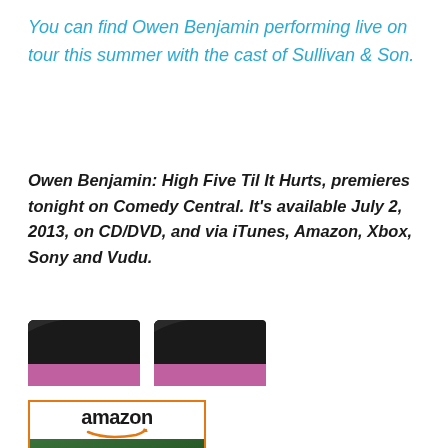You can find Owen Benjamin performing live on tour this summer with the cast of Sullivan & Son.
Owen Benjamin: High Five Til It Hurts, premieres tonight on Comedy Central. It's available July 2, 2013, on CD/DVD, and via iTunes, Amazon, Xbox, Sony and Vudu.
[Figure (illustration): Two DVD/CD cover thumbnails side by side showing Owen Benjamin High Five Til It Hurts, with dark background and pink/magenta stripe]
[Figure (photo): Amazon product listing box for Owen Benjamin: High Five Til It Hurts with Amazon logo and product image showing man in suit]